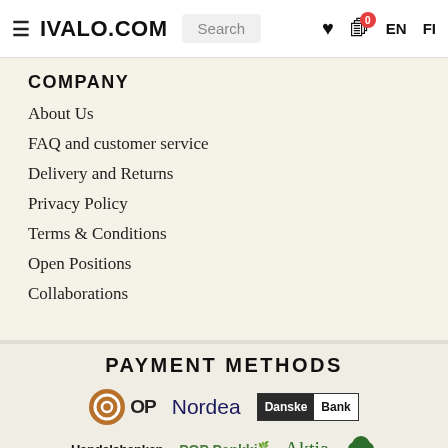IVALO.COM  Search  EN  FI
COMPANY
About Us
FAQ and customer service
Delivery and Returns
Privacy Policy
Terms & Conditions
Open Positions
Collaborations
PAYMENT METHODS
[Figure (logo): Payment method logos: OP, Nordea, Danske Bank, Handelsbanken, POP Pankki, Aktia]